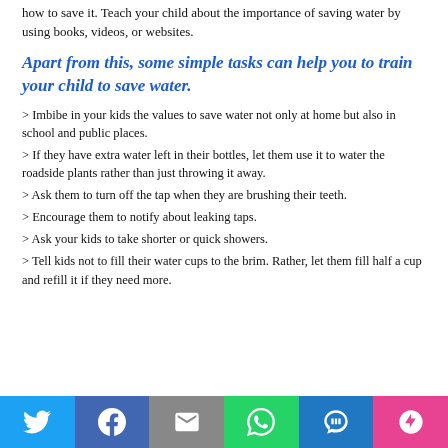how to save it. Teach your child about the importance of saving water by using books, videos, or websites.
Apart from this, some simple tasks can help you to train your child to save water.
Imbibe in your kids the values to save water not only at home but also in school and public places.
If they have extra water left in their bottles, let them use it to water the roadside plants rather than just throwing it away.
Ask them to turn off the tap when they are brushing their teeth.
Encourage them to notify about leaking taps.
Ask your kids to take shorter or quick showers.
Tell kids not to fill their water cups to the brim. Rather, let them fill half a cup and refill it if they need more.